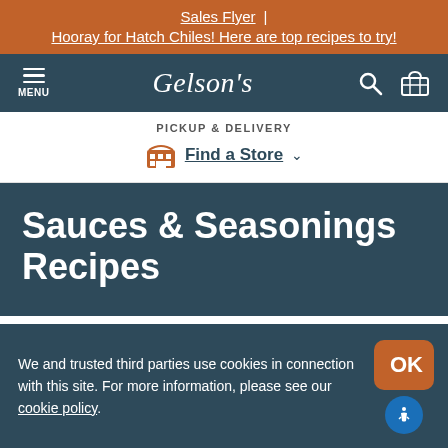Sales Flyer | Hooray for Hatch Chiles! Here are top recipes to try!
[Figure (logo): Gelson's grocery store navigation bar with menu, logo, search and cart icons]
PICKUP & DELIVERY Find a Store
Sauces & Seasonings Recipes
Home / Recipes / Poppy Seed Dressing
We and trusted third parties use cookies in connection with this site. For more information, please see our cookie policy.